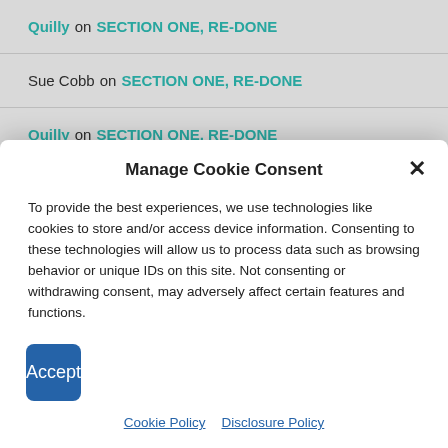Quilly on SECTION ONE, RE-DONE
Sue Cobb on SECTION ONE, RE-DONE
Quilly on SECTION ONE, RE-DONE
Manage Cookie Consent
To provide the best experiences, we use technologies like cookies to store and/or access device information. Consenting to these technologies will allow us to process data such as browsing behavior or unique IDs on this site. Not consenting or withdrawing consent, may adversely affect certain features and functions.
Accept
Cookie Policy   Disclosure Policy